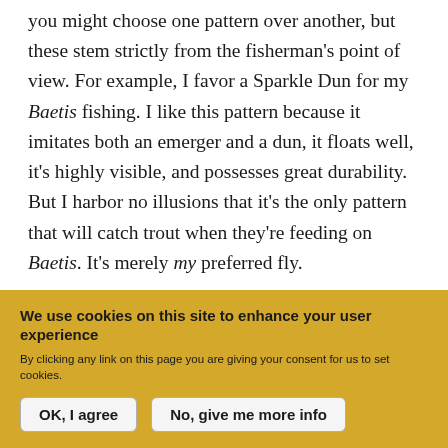you might choose one pattern over another, but these stem strictly from the fisherman's point of view. For example, I favor a Sparkle Dun for my Baetis fishing. I like this pattern because it imitates both an emerger and a dun, it floats well, it's highly visible, and possesses great durability. But I harbor no illusions that it's the only pattern that will catch trout when they're feeding on Baetis. It's merely my preferred fly.
We use cookies on this site to enhance your user experience
By clicking any link on this page you are giving your consent for us to set cookies.
OK, I agree
No, give me more info